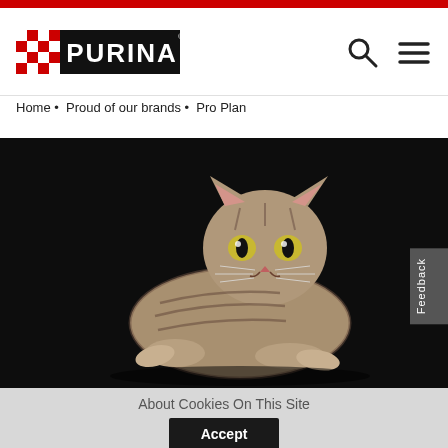[Figure (logo): Purina brand logo with red checkerboard pattern and white PURINA text on black background]
Home • Proud of our brands • Pro Plan
[Figure (photo): A tabby cat with striped markings lying down against a dark black background, looking directly at the camera]
Feedback
About Cookies On This Site
Accept